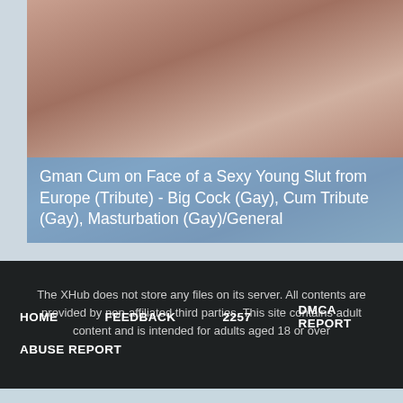[Figure (photo): Close-up thumbnail image of a person]
Gman Cum on Face of a Sexy Young Slut from Europe (Tribute) - Big Cock (Gay), Cum Tribute (Gay), Masturbation (Gay)/General
The XHub does not store any files on its server. All contents are provided by non-affiliated third parties. This site contains adult content and is intended for adults aged 18 or over
HOME   FEEDBACK   2257   DMCA REPORT   ABUSE REPORT